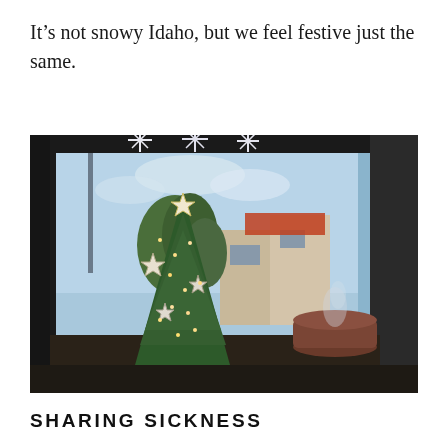It’s not snowy Idaho, but we feel festive just the same.
[Figure (photo): Indoor photo of a small decorated Christmas tree with white star ornaments and string lights, placed near a large window. Snowflake decorations hang from above. Outside the window is a street scene with buildings and trees under a partly cloudy sky. In the foreground to the right is a round reddish-brown humidifier or diffuser emitting steam.]
SHARING SICKNESS